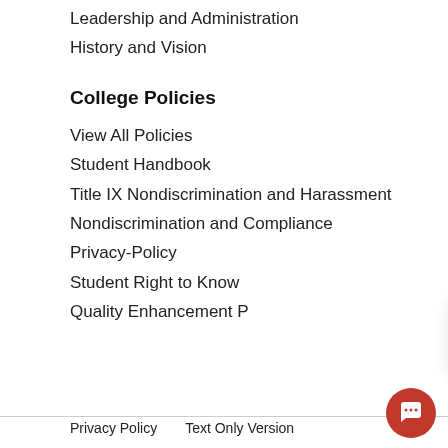Leadership and Administration
History and Vision
College Policies
View All Policies
Student Handbook
Title IX Nondiscrimination and Harassment
Nondiscrimination and Compliance
Privacy-Policy
Student Right to Know
Quality Enhancement P
[Figure (screenshot): GMC chat popup with 'Welcome to GMC!' message and close button]
Privacy Policy   Text Only Version